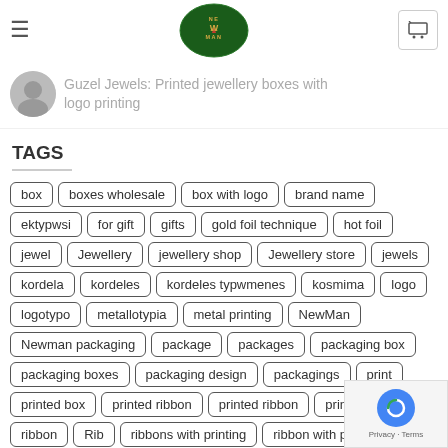NewMan packaging — navigation header with logo and cart
Guzel Jewels: Printed jewellery boxes with logo printing
TAGS
box
boxes wholesale
box with logo
brand name
ektypwsi
for gift
gifts
gold foil technique
hot foil
jewel
Jewellery
jewellery shop
Jewellery store
jewels
kordela
kordeles
kordeles typwmenes
kosmima
logo
logotypo
metallotypia
metal printing
NewMan
Newman packaging
package
packages
packaging box
packaging boxes
packaging design
packagings
print
printed box
printed ribbon
printed ribbon
printing
ribbon
Rib...
ribbons with printing
ribbon with printing
silk screen